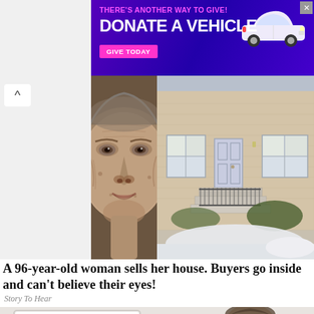[Figure (other): Purple advertisement banner: THERE'S ANOTHER WAY TO GIVE! DONATE A VEHICLE - GIVE TODAY button - car image on right]
[Figure (photo): Close-up photo of a very elderly woman's face, black and white/sepia toned, heavily wrinkled]
[Figure (photo): Photo of a brick house exterior with front door, steps, railing, and snow on the ground]
A 96-year-old woman sells her house. Buyers go inside and can't believe their eyes!
Story To Hear
[Figure (photo): Young man looking at computer screen, partially visible at bottom of page]